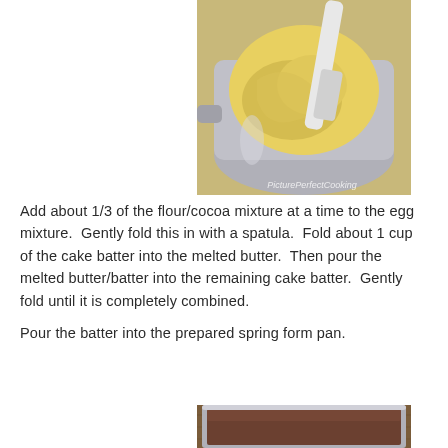[Figure (photo): Stand mixer bowl with pale yellow egg mixture being folded, with a white spatula, viewed from above. Watermark reads 'PicturePerfectCooking' in lower right.]
Add about 1/3 of the flour/cocoa mixture at a time to the egg mixture.  Gently fold this in with a spatula.  Fold about 1 cup of the cake batter into the melted butter.  Then pour the melted butter/batter into the remaining cake batter.  Gently fold until it is completely combined.
Pour the batter into the prepared spring form pan.
[Figure (photo): Bottom portion of a spring form pan containing chocolate cake batter, viewed from above on a wooden surface.]